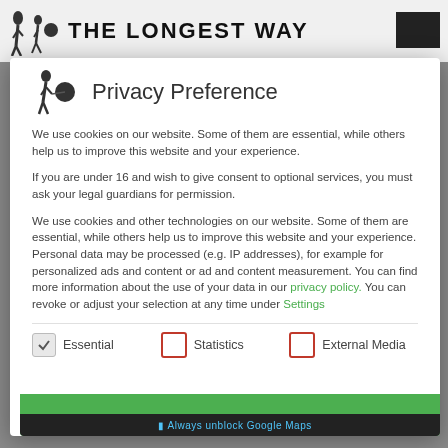THE LONGEST WAY
Privacy Preference
We use cookies on our website. Some of them are essential, while others help us to improve this website and your experience.
If you are under 16 and wish to give consent to optional services, you must ask your legal guardians for permission.
We use cookies and other technologies on our website. Some of them are essential, while others help us to improve this website and your experience. Personal data may be processed (e.g. IP addresses), for example for personalized ads and content or ad and content measurement. You can find more information about the use of your data in our privacy policy. You can revoke or adjust your selection at any time under Settings
Essential (checked)
Statistics (unchecked)
External Media (unchecked)